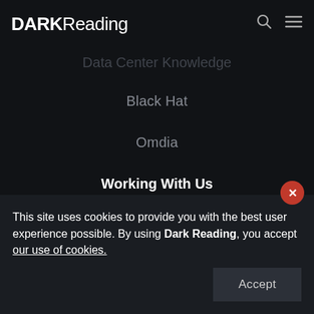DARK Reading
Data Center Knowledge
Black Hat
Omdia
Working With Us
About Us
Advertise
This site uses cookies to provide you with the best user experience possible. By using Dark Reading, you accept our use of cookies.